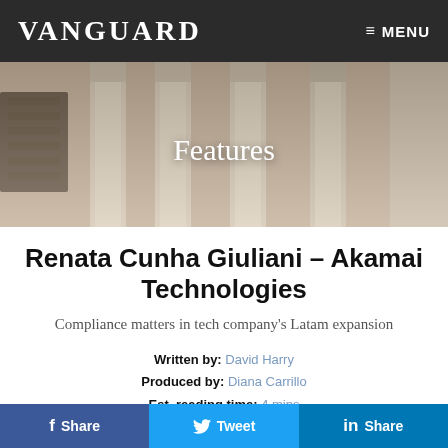VANGUARD  ≡ MENU
[Figure (photo): Hero image of classical stone columns with 'Features' text overlay]
Renata Cunha Giuliani – Akamai Technologies
Compliance matters in tech company's Latam expansion
Written by: David Harry
Produced by: Diana Carrillo
Est. reading time: 4 mins
f Share   Tweet   in Share